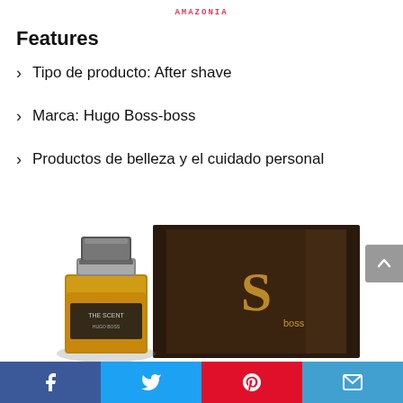AMAZONIA
Features
Tipo de producto: After shave
Marca: Hugo Boss-boss
Productos de belleza y el cuidado personal
[Figure (photo): Hugo Boss The Scent fragrance bottle next to its dark brown/black product box with gold S logo]
Facebook | Twitter | Pinterest | Email social sharing bar